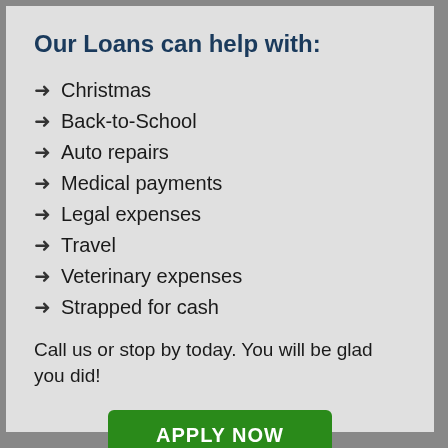Our Loans can help with:
Christmas
Back-to-School
Auto repairs
Medical payments
Legal expenses
Travel
Veterinary expenses
Strapped for cash
Call us or stop by today. You will be glad you did!
APPLY NOW